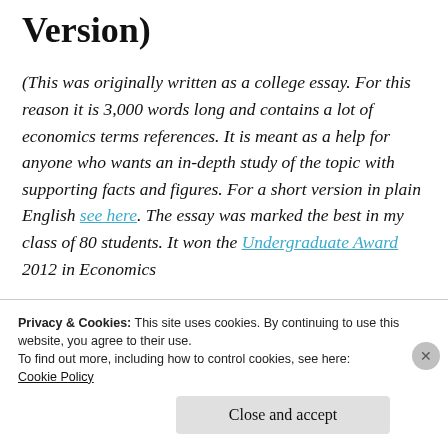Version)
(This was originally written as a college essay. For this reason it is 3,000 words long and contains a lot of economics terms references. It is meant as a help for anyone who wants an in-depth study of the topic with supporting facts and figures. For a short version in plain English see here. The essay was marked the best in my class of 80 students. It won the Undergraduate Award 2012 in Economics
Privacy & Cookies: This site uses cookies. By continuing to use this website, you agree to their use.
To find out more, including how to control cookies, see here:
Cookie Policy